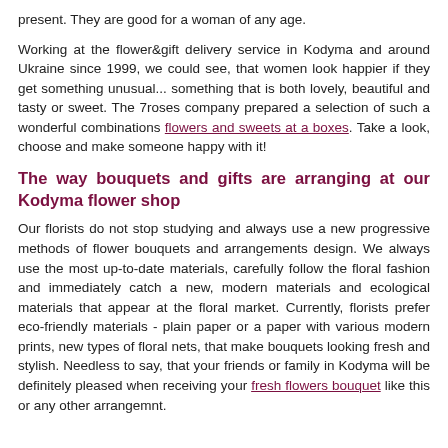present. They are good for a woman of any age.
Working at the flower&gift delivery service in Kodyma and around Ukraine since 1999, we could see, that women look happier if they get something unusual... something that is both lovely, beautiful and tasty or sweet. The 7roses company prepared a selection of such a wonderful combinations flowers and sweets at a boxes. Take a look, choose and make someone happy with it!
The way bouquets and gifts are arranging at our Kodyma flower shop
Our florists do not stop studying and always use a new progressive methods of flower bouquets and arrangements design. We always use the most up-to-date materials, carefully follow the floral fashion and immediately catch a new, modern materials and ecological materials that appear at the floral market. Currently, florists prefer eco-friendly materials - plain paper or a paper with various modern prints, new types of floral nets, that make bouquets looking fresh and stylish. Needless to say, that your friends or family in Kodyma will be definitely pleased when receiving your fresh flowers bouquet like this or any other arrangemnt.